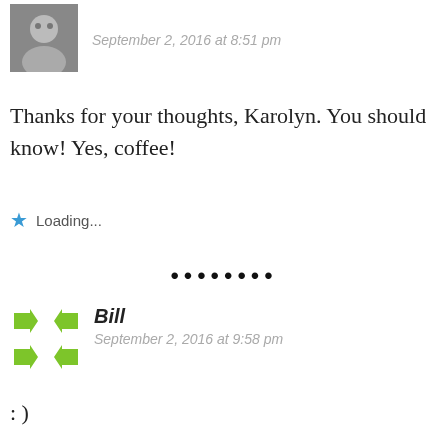[Figure (photo): Small grayscale avatar photo of a person]
September 2, 2016 at 8:51 pm
Thanks for your thoughts, Karolyn. You should know! Yes, coffee!
Loading...
••••••••
[Figure (logo): Green geometric/arrow logo for Bill]
Bill
September 2, 2016 at 9:58 pm
: )